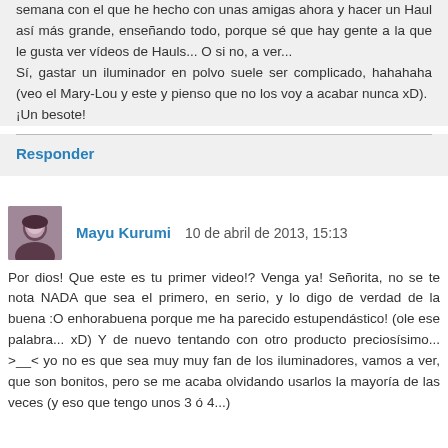semana con el que he hecho con unas amigas ahora y hacer un Haul así más grande, enseñando todo, porque sé que hay gente a la que le gusta ver vídeos de Hauls... O si no, a ver...
Sí, gastar un iluminador en polvo suele ser complicado, hahahaha (veo el Mary-Lou y este y pienso que no los voy a acabar nunca xD).
¡Un besote!
Responder
Mayu Kurumi  10 de abril de 2013, 15:13
Por dios! Que este es tu primer video!? Venga ya! Señorita, no se te nota NADA que sea el primero, en serio, y lo digo de verdad de la buena :O enhorabuena porque me ha parecido estupendástico! (ole ese palabra... xD) Y de nuevo tentando con otro producto preciosísimo... >__< yo no es que sea muy muy fan de los iluminadores, vamos a ver, que son bonitos, pero se me acaba olvidando usarlos la mayoría de las veces (y eso que tengo unos 3 ó 4...)